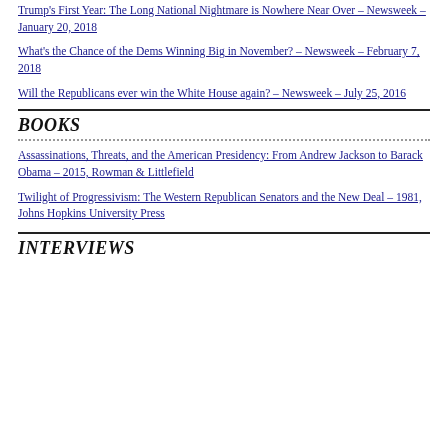Trump's First Year: The Long National Nightmare is Nowhere Near Over – Newsweek – January 20, 2018
What's the Chance of the Dems Winning Big in November? – Newsweek – February 7, 2018
Will the Republicans ever win the White House again? – Newsweek – July 25, 2016
BOOKS
Assassinations, Threats, and the American Presidency: From Andrew Jackson to Barack Obama – 2015, Rowman & Littlefield
Twilight of Progressivism: The Western Republican Senators and the New Deal – 1981, Johns Hopkins University Press
INTERVIEWS